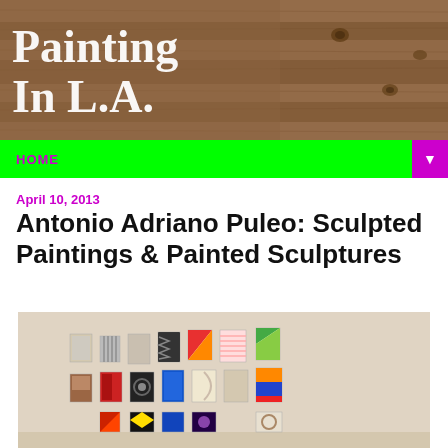[Figure (photo): Header banner of Painting In L.A. blog with wood plank background and bold white serif text]
HOME
April 10, 2013
Antonio Adriano Puleo: Sculpted Paintings & Painted Sculptures
[Figure (photo): Gallery installation photo showing rows of small colorful sculptural paintings mounted on a white/cream wall]